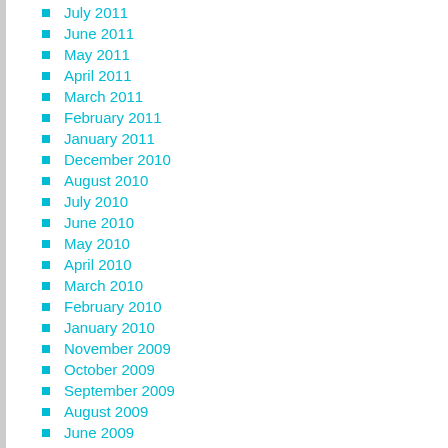July 2011
June 2011
May 2011
April 2011
March 2011
February 2011
January 2011
December 2010
August 2010
July 2010
June 2010
May 2010
April 2010
March 2010
February 2010
January 2010
November 2009
October 2009
September 2009
August 2009
June 2009
April 2009